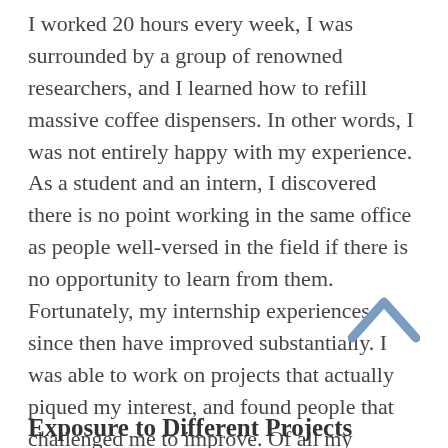I worked 20 hours every week, I was surrounded by a group of renowned researchers, and I learned how to refill massive coffee dispensers. In other words, I was not entirely happy with my experience. As a student and an intern, I discovered there is no point working in the same office as people well-versed in the field if there is no opportunity to learn from them. Fortunately, my internship experiences since then have improved substantially. I was able to work on projects that actually piqued my interest, and found people that challenged me to improve. Of all my internship opportunities, my time at Global Dimensions certainly takes the cake. I could not be more thrilled to work with such an incredible and welcoming team!
Exposure to Different Projects